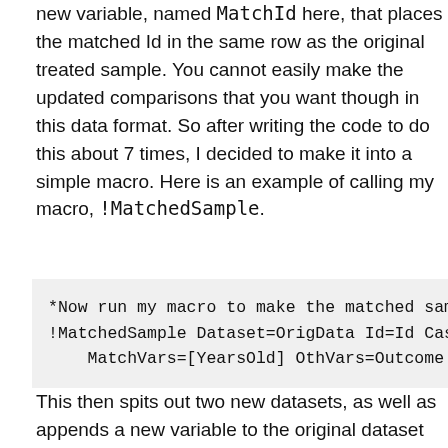new variable, named MatchId here, that places the matched Id in the same row as the original treated sample. You cannot easily make the updated comparisons that you want though in this data format. So after writing the code to do this about 7 times, I decided to make it into a simple macro. Here is an example of calling my macro, !MatchedSample.
*Now run my macro to make the matched sam
!MatchedSample Dataset=OrigData Id=Id Cas
    MatchVars=[YearsOld] OthVars=Outcome Ma
This then spits out two new datasets, as well as appends a new variable to the original dataset named MatchedSample to show what cases have been matched. Then it is simple to see the difference in our means among our matched sample.